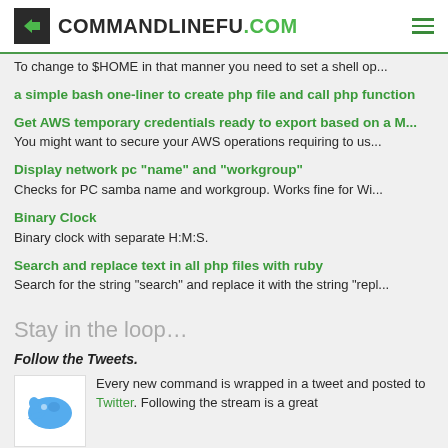COMMANDLINEFU.COM
To change to $HOME in that manner you need to set a shell op...
a simple bash one-liner to create php file and call php function
Get AWS temporary credentials ready to export based on a M...
You might want to secure your AWS operations requiring to us...
Display network pc "name" and "workgroup"
Checks for PC samba name and workgroup. Works fine for Wi...
Binary Clock
Binary clock with separate H:M:S.
Search and replace text in all php files with ruby
Search for the string "search" and replace it with the string "repl...
Stay in the loop...
Follow the Tweets.
Every new command is wrapped in a tweet and posted to Twitter. Following the stream is a great